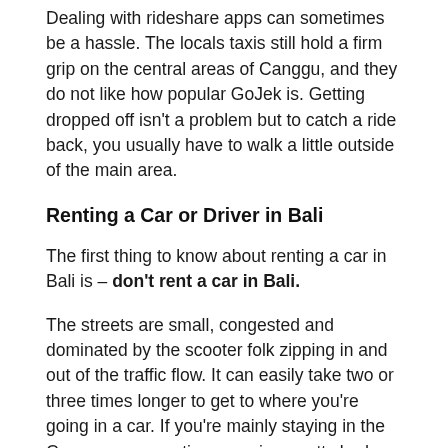Dealing with rideshare apps can sometimes be a hassle. The locals taxis still hold a firm grip on the central areas of Canggu, and they do not like how popular GoJek is. Getting dropped off isn't a problem but to catch a ride back, you usually have to walk a little outside of the main area.
Renting a Car or Driver in Bali
The first thing to know about renting a car in Bali is – don't rent a car in Bali.
The streets are small, congested and dominated by the scooter folk zipping in and out of the traffic flow. It can easily take two or three times longer to get to where you're going in a car. If you're mainly staying in the Canggu area, renting a car is a pretty bad idea.
Of course, there are exceptions. If you're travelling in a group, with small children or need to cover...